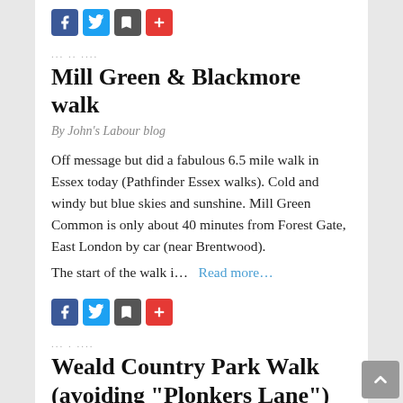[Figure (other): Social share buttons: Facebook (blue), Twitter (blue), Bookmark (grey), Plus/More (red)]
... ... ....
Mill Green & Blackmore walk
By John's Labour blog
Off message but did a fabulous 6.5 mile walk in Essex today (Pathfinder Essex walks). Cold and windy but blue skies and sunshine. Mill Green Common is only about 40 minutes from Forest Gate, East London by car (near Brentwood).
The start of the walk i…   Read more…
[Figure (other): Social share buttons: Facebook (blue), Twitter (blue), Bookmark (grey), Plus/More (red)]
... . ....
Weald Country Park Walk (avoiding "Plonkers Lane")
By John's Labour blog
Off message but this was a lovely 5.5 mile  Essex